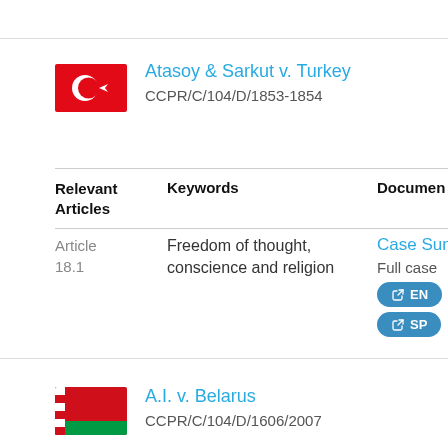Atasoy & Sarkut v. Turkey
CCPR/C/104/D/1853-1854
Relevant Articles   Keywords   Documents
Article 18.1   Freedom of thought, conscience and religion   Case Summary   Full case   EN   SP
A.I. v. Belarus
CCPR/C/104/D/1606/2007